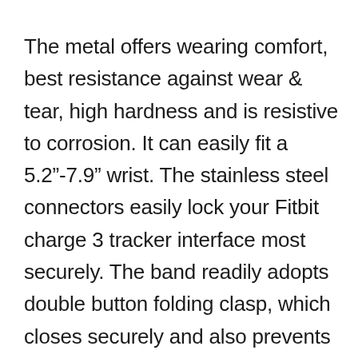The metal offers wearing comfort, best resistance against wear & tear, high hardness and is resistive to corrosion. It can easily fit a 5.2"-7.9" wrist. The stainless steel connectors easily lock your Fitbit charge 3 tracker interface most securely. The band readily adopts double button folding clasp, which closes securely and also prevents loosening it. Along with this band, you will even get a 1 x Links Removal tool for shortening the band.